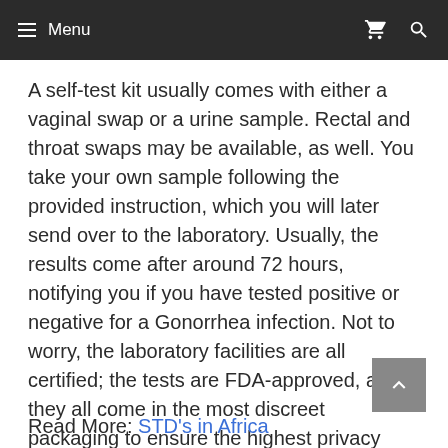≡ Menu
A self-test kit usually comes with either a vaginal swap or a urine sample. Rectal and throat swaps may be available, as well. You take your own sample following the provided instruction, which you will later send over to the laboratory. Usually, the results come after around 72 hours, notifying you if you have tested positive or negative for a Gonorrhea infection. Not to worry, the laboratory facilities are all certified; the tests are FDA-approved, and they all come in the most discreet packaging to ensure the highest privacy possible.
Read More: STD's in Africa